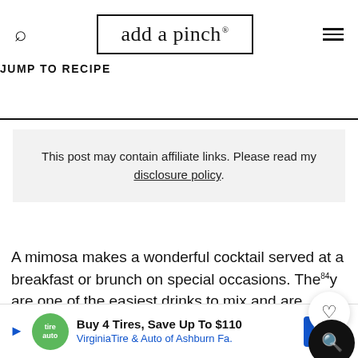add a pinch.
JUMP TO RECIPE
This post may contain affiliate links. Please read my disclosure policy.
A mimosa makes a wonderful cocktail served at a breakfast or brunch on special occasions. They are one of the easiest drinks to mix and are generally well-loved. Over Thanksgiving, I came up with a special little twist on my ole favorite I want to share with you. It's a pomegranate mimo
[Figure (other): Ad banner: Buy 4 Tires, Save Up To $110 - VirginiaTire & Auto of Ashburn Fa.]